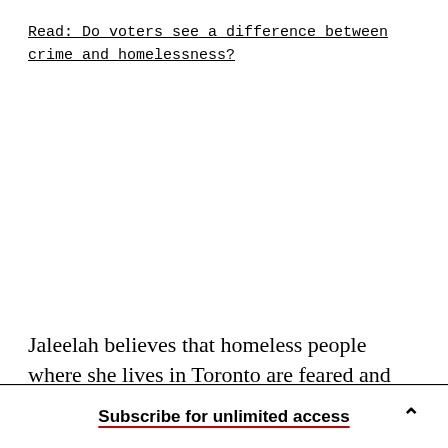Read: Do voters see a difference between crime and homelessness?
Jaleelah believes that homeless people where she lives in Toronto are feared and blamed in irrational
Subscribe for unlimited access